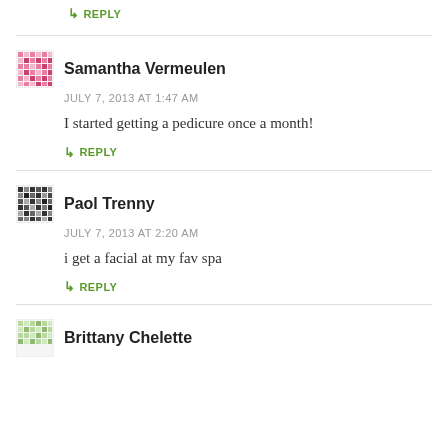↳ REPLY
Samantha Vermeulen
JULY 7, 2013 AT 1:47 AM
I started getting a pedicure once a month!
↳ REPLY
Paol Trenny
JULY 7, 2013 AT 2:20 AM
i get a facial at my fav spa
↳ REPLY
Brittany Chelette